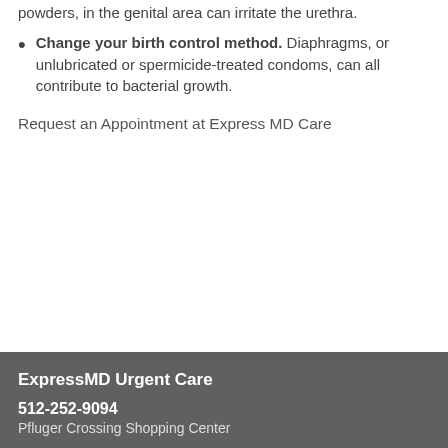powders, in the genital area can irritate the urethra.
Change your birth control method. Diaphragms, or unlubricated or spermicide-treated condoms, can all contribute to bacterial growth.
Request an Appointment at Express MD Care
ExpressMD Urgent Care
512-252-9094
Pfluger Crossing Shopping Center